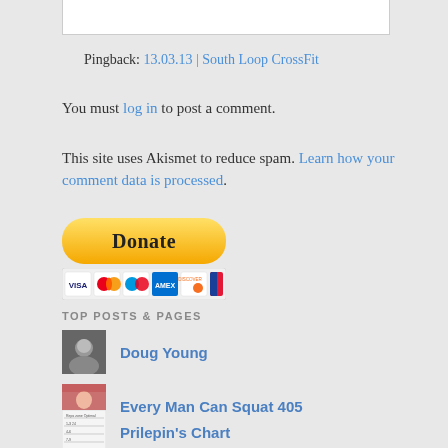Pingback: 13.03.13 | South Loop CrossFit
You must log in to post a comment.
This site uses Akismet to reduce spam. Learn how your comment data is processed.
[Figure (other): PayPal Donate button with payment card icons (Visa, Mastercard, Maestro, Amex, Discover, UnionPay)]
TOP POSTS & PAGES
Doug Young
Every Man Can Squat 405
Prilepin's Chart